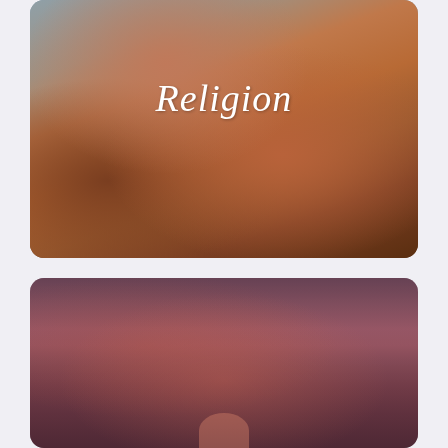[Figure (photo): Photograph of an Orthodox Christian monk or priest with a grey beard and black clothing and hat, standing in front of an old stone church with orange terracotta roof tiles and a rounded dome with a cross on top. Green trees and mountains are visible in the background. The word 'Religion' is overlaid in white italic script text on the right side of the image.]
[Figure (photo): Partially visible photograph with a dark, moody sunset/dusk atmosphere in shades of purple, mauve, and rose. A small circular element (possibly a person or object) is partially visible at the bottom center of the frame. The image is cropped and the full content is not visible.]